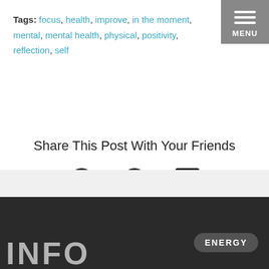Tags: focus, health, improve, in the moment, mental, mental health, physical, positivity, reflection, self
MENU
Share This Post With Your Friends
[Figure (infographic): Social share buttons: Facebook, Twitter, LinkedIn icons]
[Figure (photo): Dark chalkboard background with large stenciled letters reading INFO, with an ENERGY badge overlay in bottom right]